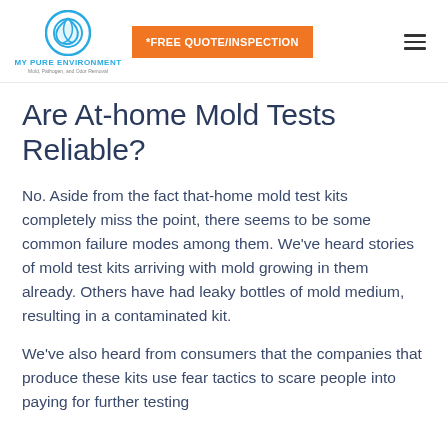MY PURE ENVIRONMENT | *FREE QUOTE/INSPECTION
Are At-home Mold Tests Reliable?
No. Aside from the fact that-home mold test kits completely miss the point, there seems to be some common failure modes among them. We've heard stories of mold test kits arriving with mold growing in them already. Others have had leaky bottles of mold medium, resulting in a contaminated kit.
We've also heard from consumers that the companies that produce these kits use fear tactics to scare people into paying for further testing